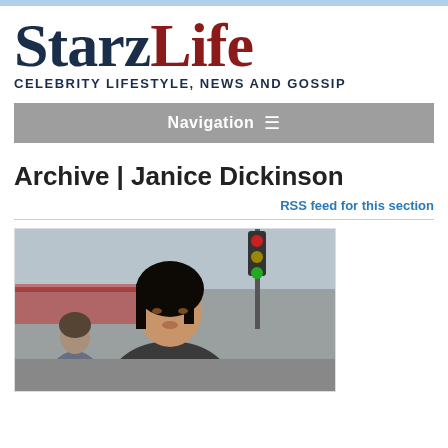StarzLife — Celebrity Lifestyle, News and Gossip
Archive | Janice Dickinson
RSS feed for this section
[Figure (photo): Photo of a dark-haired woman outdoors on a street, with a traffic light visible in the background]